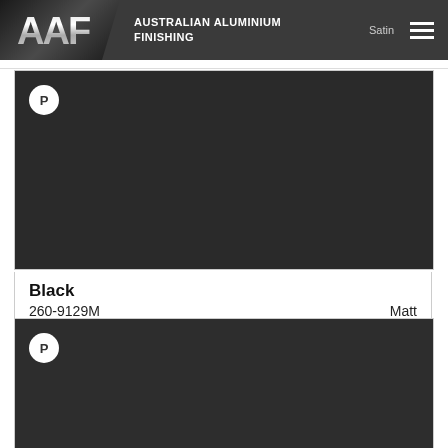AAF — AUSTRALIAN ALUMINIUM FINISHING
[Figure (screenshot): Black aluminium finish swatch card with 'P' badge, color name Black, code 260-9129M, finish Matt]
Black
260-9129M  Matt
[Figure (screenshot): Second black aluminium finish swatch card with 'P' badge and scroll-to-top button]
Black